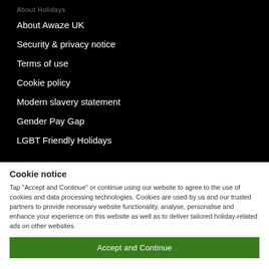About Holidays
About Awaze UK
Security & privacy notice
Terms of use
Cookie policy
Modern slavery statement
Gender Pay Gap
LGBT Friendly Holidays
Cookie notice
Tap "Accept and Continue" or continue using our website to agree to the use of cookies and data processing technologies. Cookies are used by us and our trusted partners to provide necessary website functionality, analyse, personalise and enhance your experience on this website as well as to deliver tailored holiday-related ads on other websites.
Accept and Continue